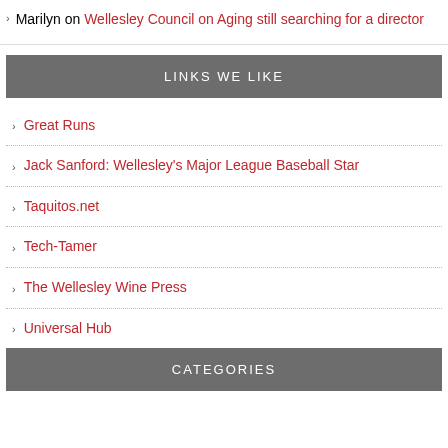Marilyn on Wellesley Council on Aging still searching for a director
LINKS WE LIKE
Great Runs
Jack Sanford: Wellesley's Major League Baseball Star
Taquitos.net
Tech-Tamer
The Wellesley Wine Press
Universal Hub
Wellesley Sports Discussion Facebook Group
CATEGORIES